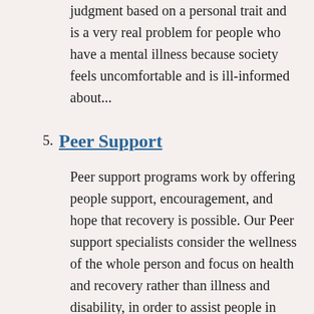judgment based on a personal trait and is a very real problem for people who have a mental illness because society feels uncomfortable and is ill-informed about...
5. Peer Support
Peer support programs work by offering people support, encouragement, and hope that recovery is possible. Our Peer support specialists consider the wellness of the whole person and focus on health and recovery rather than illness and disability, in order to assist people in finding their own path to...
6. Patient Advisory and Recovery Committee (PARC)